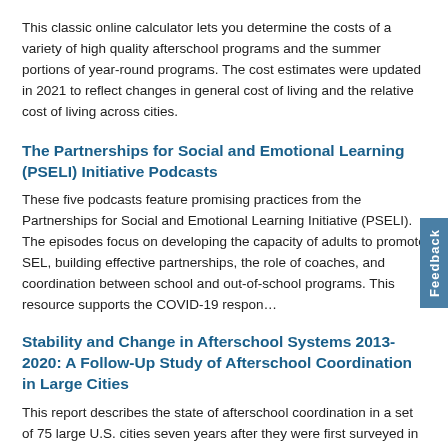This classic online calculator lets you determine the costs of a variety of high quality afterschool programs and the summer portions of year-round programs. The cost estimates were updated in 2021 to reflect changes in general cost of living and the relative cost of living across cities.
The Partnerships for Social and Emotional Learning (PSELI) Initiative Podcasts
These five podcasts feature promising practices from the Partnerships for Social and Emotional Learning Initiative (PSELI). The episodes focus on developing the capacity of adults to promote SEL, building effective partnerships, the role of coaches, and coordination between school and out-of-school programs. This resource supports the COVID-19 response...
Stability and Change in Afterschool Systems 2013-2020: A Follow-Up Study of Afterschool Coordination in Large Cities
This report describes the state of afterschool coordination in a set of 75 large U.S. cities seven years after they were first surveyed in 2013. It focuses on three components: a designated coordinating entity, a common data system, and a framework or set of standards for program quality.